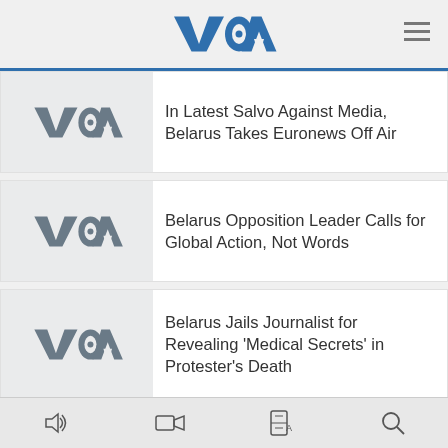VOA
In Latest Salvo Against Media, Belarus Takes Euronews Off Air
Belarus Opposition Leader Calls for Global Action, Not Words
Belarus Jails Journalist for Revealing 'Medical Secrets' in Protester's Death
NEW SERIES
bottom navigation bar with audio, video, language, search icons